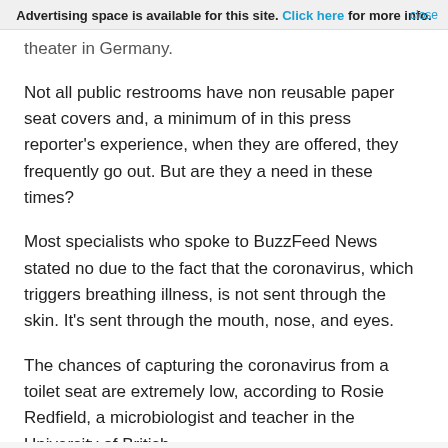Advertising space is available for this site. Click here for more info. close
theater in Germany.
Not all public restrooms have non reusable paper seat covers and, a minimum of in this press reporter’s experience, when they are offered, they frequently go out. But are they a need in these times?
Most specialists who spoke to BuzzFeed News stated no due to the fact that the coronavirus, which triggers breathing illness, is not sent through the skin. It’s sent through the mouth, nose, and eyes.
The chances of capturing the coronavirus from a toilet seat are extremely low, according to Rosie Redfield, a microbiologist and teacher in the University of British